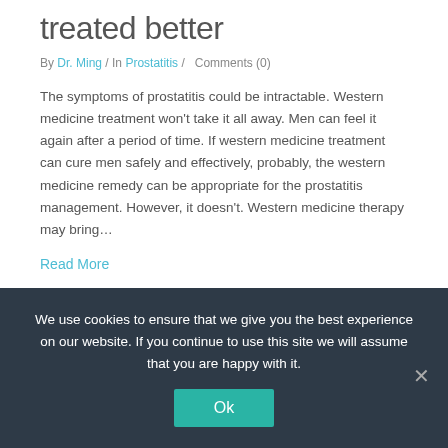treated better
By Dr. Ming / In Prostatitis /   Comments (0)
The symptoms of prostatitis could be intractable. Western medicine treatment won't take it all away. Men can feel it again after a period of time. If western medicine treatment can cure men safely and effectively, probably, the western medicine remedy can be appropriate for the prostatitis management. However, it doesn't. Western medicine therapy may bring…
Read More
We use cookies to ensure that we give you the best experience on our website. If you continue to use this site we will assume that you are happy with it.